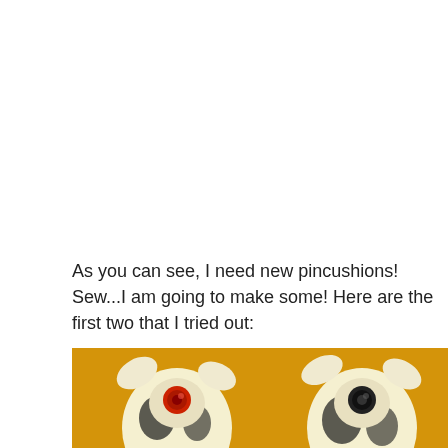As you can see, I need new pincushions! Sew...I am going to make some! Here are the first two that I tried out:
[Figure (photo): Two handmade owl-shaped pincushions with black and yellow/white patterned fabric and button eyes, photographed against a mustard/golden yellow background. The left owl has a red button eye, the right has a black button eye.]